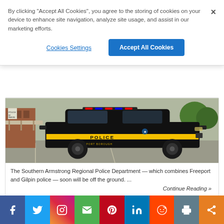By clicking "Accept All Cookies", you agree to the storing of cookies on your device to enhance site navigation, analyze site usage, and assist in our marketing efforts.
Cookies Settings
Accept All Cookies
[Figure (photo): A black and yellow Southern Armstrong Regional Police Department SUV parked in a lot near a brick building]
The Southern Armstrong Regional Police Department — which combines Freeport and Gilpin police — soon will be off the ground. ...
Continue Reading »
everybodyshops
[Figure (infographic): Social media share buttons: Facebook, Twitter, Instagram, Email, Pinterest, LinkedIn, Reddit, Print, Share]